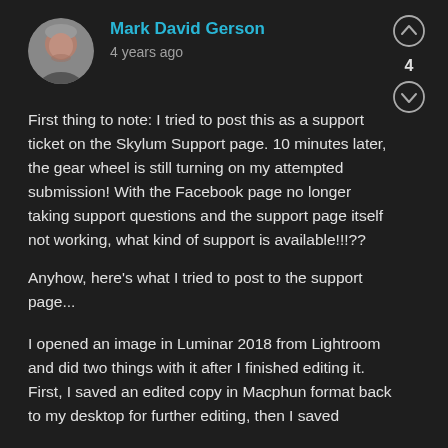[Figure (photo): Circular avatar photo of a middle-aged man with gray hair against a light background]
Mark David Gerson
4 years ago
[Figure (other): Upvote arrow button circle icon]
4
[Figure (other): Downvote arrow button circle icon]
First thing to note: I tried to post this as a support ticket on the Skylum Support page. 10 minutes later, the gear wheel is still turning on my attempted submission! With the Facebook page no longer taking support questions and the support page itself not working, what kind of support is available!!!??
Anyhow, here's what I tried to post to the support page...
I opened an image in Luminar 2018 from Lightroom and did two things with it after I finished editing it. First, I saved an edited copy in Macphun format back to my desktop for further editing, then I saved